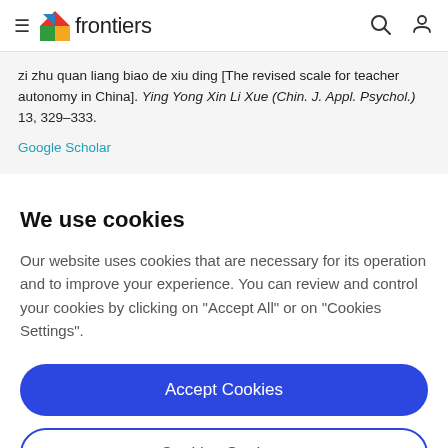frontiers
zi zhu quan liang biao de xiu ding [The revised scale for teacher autonomy in China]. Ying Yong Xin Li Xue (Chin. J. Appl. Psychol.) 13, 329–333.
Google Scholar
We use cookies
Our website uses cookies that are necessary for its operation and to improve your experience. You can review and control your cookies by clicking on "Accept All" or on "Cookies Settings".
Accept Cookies
Cookies Settings